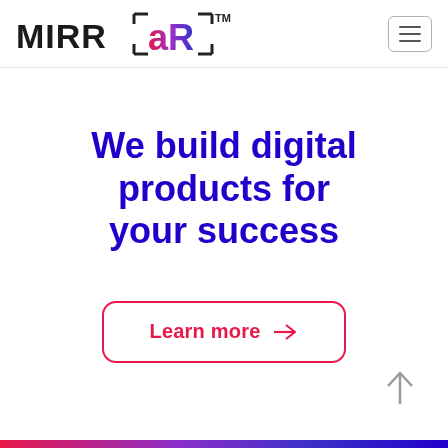MIRR AR™ — navigation header with hamburger menu
We build digital products for your success
Learn more →
[Figure (illustration): Upward arrow (scroll to top) icon in grey]